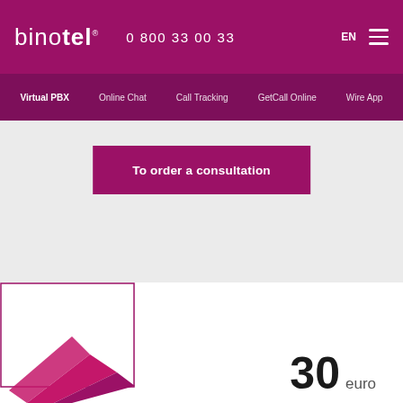binotel  0 800 33 00 33  EN
Virtual PBX  Online Chat  Call Tracking  GetCall Online  Wire App
To order a consultation
[Figure (illustration): Decorative geometric shapes in magenta/pink forming a stylized building or structure, partially visible at bottom left]
30 euro